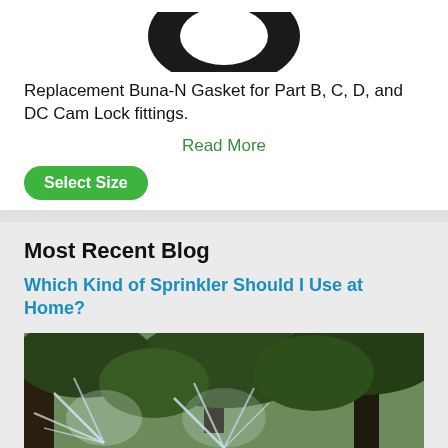[Figure (photo): Black rubber O-ring / Buna-N gasket viewed from above, partially cropped at top]
Replacement Buna-N Gasket for Part B, C, D, and DC Cam Lock fittings.
Read More
Select Size
Most Recent Blog
Which Kind of Sprinkler Should I Use at Home?
[Figure (photo): Garden sprinkler spraying water in a green leafy outdoor setting with trees in background]